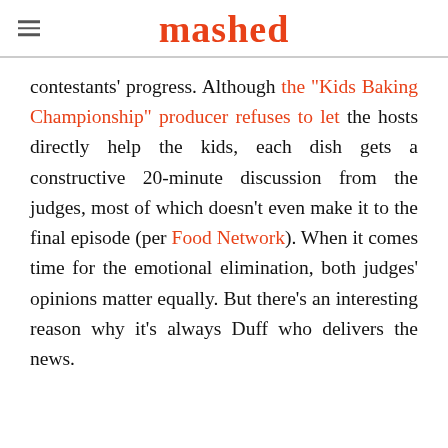mashed
contestants' progress. Although the "Kids Baking Championship" producer refuses to let the hosts directly help the kids, each dish gets a constructive 20-minute discussion from the judges, most of which doesn't even make it to the final episode (per Food Network). When it comes time for the emotional elimination, both judges' opinions matter equally. But there's an interesting reason why it's always Duff who delivers the news.